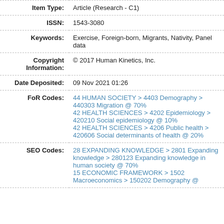| Field | Value |
| --- | --- |
| Item Type: | Article (Research - C1) |
| ISSN: | 1543-3080 |
| Keywords: | Exercise, Foreign-born, Migrants, Nativity, Panel data |
| Copyright Information: | © 2017 Human Kinetics, Inc. |
| Date Deposited: | 09 Nov 2021 01:26 |
| FoR Codes: | 44 HUMAN SOCIETY > 4403 Demography > 440303 Migration @ 70%
42 HEALTH SCIENCES > 4202 Epidemiology > 420210 Social epidemiology @ 10%
42 HEALTH SCIENCES > 4206 Public health > 420606 Social determinants of health @ 20% |
| SEO Codes: | 28 EXPANDING KNOWLEDGE > 2801 Expanding knowledge > 280123 Expanding knowledge in human society @ 70%
15 ECONOMIC FRAMEWORK > 1502 Macroeconomics > 150202 Demography @ |